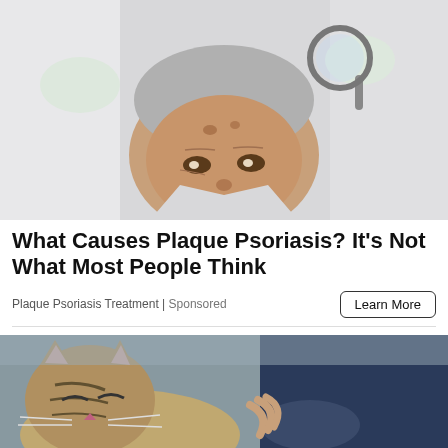[Figure (photo): A doctor in white coat and gloves examining an elderly man's scalp with a magnifying glass]
What Causes Plaque Psoriasis? It’s Not What Most People Think
Plaque Psoriasis Treatment | Sponsored
[Figure (photo): A tabby cat being petted by a person in a dark blue jacket]